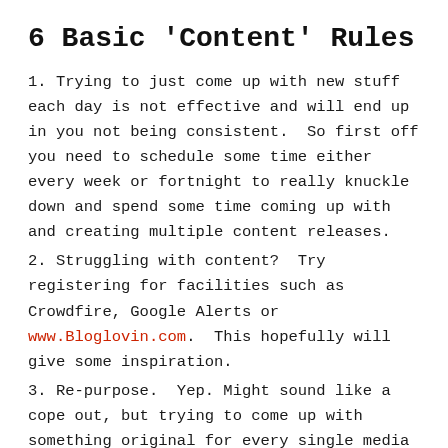6 Basic 'Content' Rules
1. Trying to just come up with new stuff each day is not effective and will end up in you not being consistent.  So first off you need to schedule some time either every week or fortnight to really knuckle down and spend some time coming up with and creating multiple content releases.
2. Struggling with content?  Try registering for facilities such as Crowdfire, Google Alerts or www.Bloglovin.com.  This hopefully will give some inspiration.
3. Re-purpose.  Yep. Might sound like a cope out, but trying to come up with something original for every single media and day will mean you do little else. Unless you are super-famous or have a stalker, you are not going to have anyone that looks at all your updates on every media.  Even if they do, so what! So